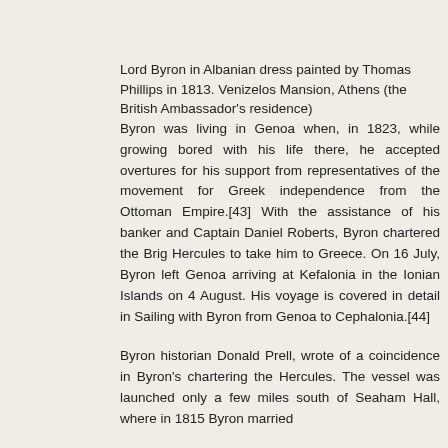Lord Byron in Albanian dress painted by Thomas Phillips in 1813. Venizelos Mansion, Athens (the British Ambassador's residence)
Byron was living in Genoa when, in 1823, while growing bored with his life there, he accepted overtures for his support from representatives of the movement for Greek independence from the Ottoman Empire.[43] With the assistance of his banker and Captain Daniel Roberts, Byron chartered the Brig Hercules to take him to Greece. On 16 July, Byron left Genoa arriving at Kefalonia in the Ionian Islands on 4 August. His voyage is covered in detail in Sailing with Byron from Genoa to Cephalonia.[44]
Byron historian Donald Prell, wrote of a coincidence in Byron's chartering the Hercules. The vessel was launched only a few miles south of Seaham Hall, where in 1815 Byron married